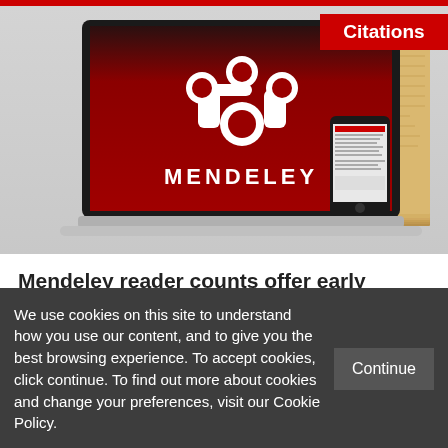[Figure (screenshot): Mendeley laptop screenshot with Mendeley logo on red background, a smartphone, and a stack of papers. A red 'Citations' badge appears in the top-right corner.]
Mendeley reader counts offer early evidence of the scholarly impact of academic articles
JANUARY 17TH, 2017
We use cookies on this site to understand how you use our content, and to give you the best browsing experience. To accept cookies, click continue. To find out more about cookies and change your preferences, visit our Cookie Policy.